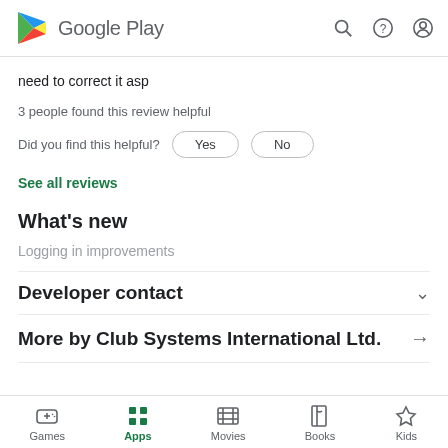Google Play
need to correct it asp
3 people found this review helpful
Did you find this helpful?  Yes  No
See all reviews
What's new
Logging in improvements
Developer contact
More by Club Systems International Ltd.
Games  Apps  Movies  Books  Kids